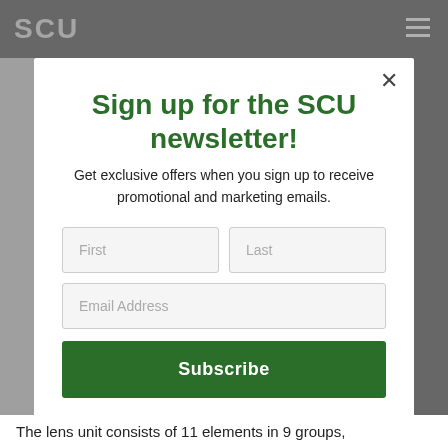SCU
Sign up for the SCU newsletter!
Get exclusive offers when you sign up to receive promotional and marketing emails.
First | Last | Email Address | Subscribe
The lens unit consists of 11 elements in 9 groups,